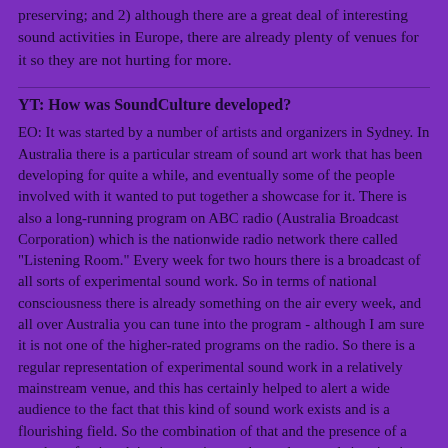preserving; and 2) although there are a great deal of interesting sound activities in Europe, there are already plenty of venues for it so they are not hurting for more.
YT: How was SoundCulture developed?
EO: It was started by a number of artists and organizers in Sydney. In Australia there is a particular stream of sound art work that has been developing for quite a while, and eventually some of the people involved with it wanted to put together a showcase for it. There is also a long-running program on ABC radio (Australia Broadcast Corporation) which is the nationwide radio network there called "Listening Room." Every week for two hours there is a broadcast of all sorts of experimental sound work. So in terms of national consciousness there is already something on the air every week, and all over Australia you can tune into the program - although I am sure it is not one of the higher-rated programs on the radio. So there is a regular representation of experimental sound work in a relatively mainstream venue, and this has certainly helped to alert a wide audience to the fact that this kind of sound work exists and is a flourishing field. So the combination of that and the presence of a number of artists doing interesting works made a good situation in which to start the festival. At that festival in 1991 there were people from Australia, New Zealand, Japan and